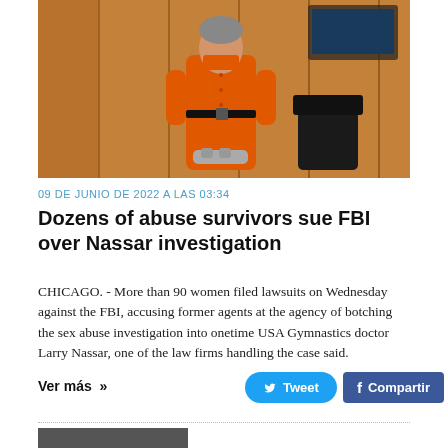[Figure (photo): Person in orange prison jumpsuit standing in what appears to be a courtroom, with hands cuffed at the waist, wooden paneling in the background]
09 DE JUNIO DE 2022 A LAS 03:34
Dozens of abuse survivors sue FBI over Nassar investigation
CHICAGO. - More than 90 women filed lawsuits on Wednesday against the FBI, accusing former agents at the agency of botching the sex abuse investigation into onetime USA Gymnastics doctor Larry Nassar, one of the law firms handling the case said.
Ver más »